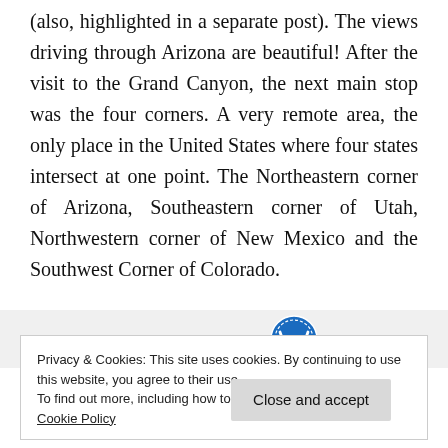(also, highlighted in a separate post). The views driving through Arizona are beautiful! After the visit to the Grand Canyon, the next main stop was the four corners. A very remote area, the only place in the United States where four states intersect at one point. The Northeastern corner of Arizona, Southeastern corner of Utah, Northwestern corner of New Mexico and the Southwest Corner of Colorado.
[Figure (other): GET THE APP banner with WordPress logo icon]
Privacy & Cookies: This site uses cookies. By continuing to use this website, you agree to their use.
To find out more, including how to control cookies, see here:
Cookie Policy
Close and accept